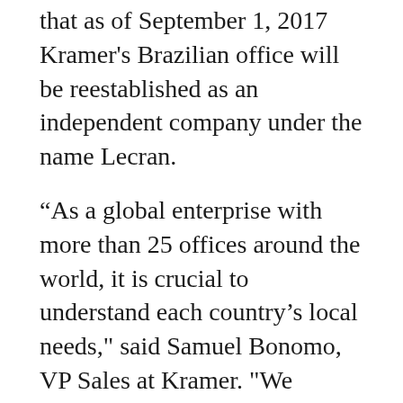At Infocomm 2017 has announced that as of September 1, 2017 Kramer's Brazilian office will be reestablished as an independent company under the name Lecran.
“As a global enterprise with more than 25 offices around the world, it is crucial to understand each country’s local needs," said Samuel Bonomo, VP Sales at Kramer. "We decided to transition operations from Kramer Brazil to Lecran in an effort to better serve the Brazilian market and as part of a larger strategic shift,” he added.
Lecran will be led by Marcel Briant who will transition from his current position as Country Manager of Kramer Brazil to